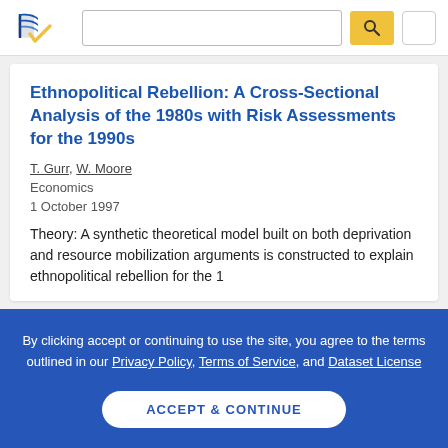[Figure (logo): Semantic Scholar logo with blue and gold checkmark icon]
Ethnopolitical Rebellion: A Cross-Sectional Analysis of the 1980s with Risk Assessments for the 1990s
T. Gurr, W. Moore
Economics
1 October 1997
Theory: A synthetic theoretical model built on both deprivation and resource mobilization arguments is constructed to explain ethnopolitical rebellion for the 1
By clicking accept or continuing to use the site, you agree to the terms outlined in our Privacy Policy, Terms of Service, and Dataset License
ACCEPT & CONTINUE